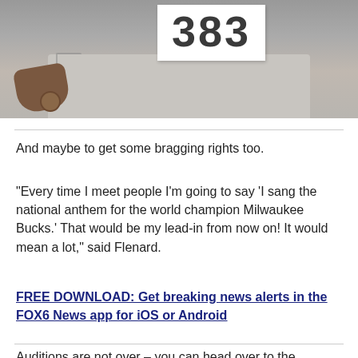[Figure (photo): A person in a grey t-shirt holding up a white bib with the number 383 printed on it in large dark numerals. The person's hand is visible at the bottom holding what appears to be a coin or badge.]
And maybe to get some bragging rights too.
"Every time I meet people I’m going to say ‘I sang the national anthem for the world champion Milwaukee Bucks.’ That would be my lead-in from now on! It would mean a lot," said Flenard.
FREE DOWNLOAD: Get breaking news alerts in the FOX6 News app for iOS or Android
Auditions are not over – you can head over to the